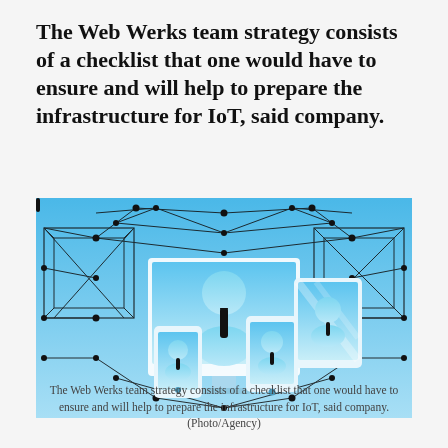The Web Werks team strategy consists of a checklist that one would have to ensure and will help to prepare the infrastructure for IoT, said company.
[Figure (illustration): An illustration showing IoT network concept with digital devices (monitor, tablet, smartphone) displaying stylized user icons connected by a geometric network of lines and nodes on a blue gradient background.]
The Web Werks team strategy consists of a checklist that one would have to ensure and will help to prepare the infrastructure for IoT, said company. (Photo/Agency)